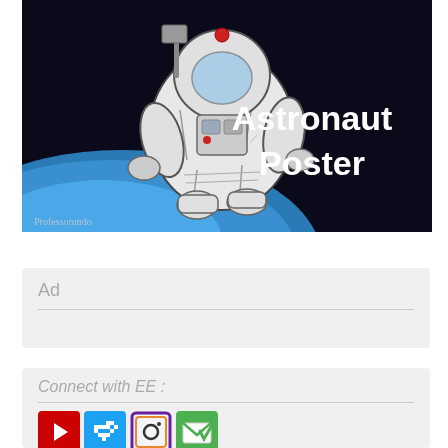[Figure (illustration): Illustration of an astronaut floating in space wearing a white spacesuit, holding equipment. Text reads 'Astronaut Poster' in white on a dark/blue background. Small watermark 'Professorundo' at bottom left.]
Ad
Connect with EE :
[Figure (illustration): Row of four social media icons: YouTube (red play button), Twitter (blue bird pixel art), Instagram (camera icon with purple/orange border), and a green email/newsletter icon.]